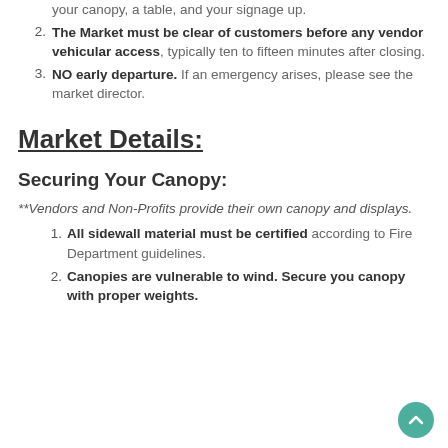your canopy, a table, and your signage up.
The Market must be clear of customers before any vendor vehicular access, typically ten to fifteen minutes after closing.
NO early departure. If an emergency arises, please see the market director.
Market Details:
Securing Your Canopy:
**Vendors and Non-Profits provide their own canopy and displays.
All sidewall material must be certified according to Fire Department guidelines.
Canopies are vulnerable to wind. Secure you canopy with proper weights.